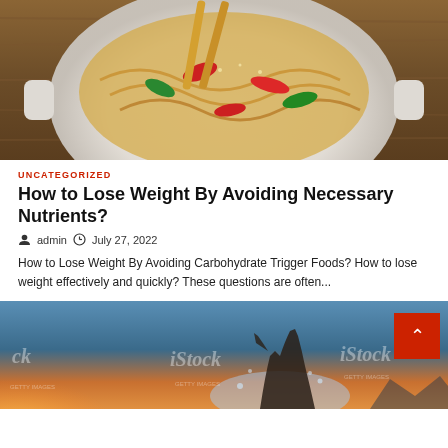[Figure (photo): Overhead view of a white bowl of noodles with vegetables (bell peppers, greens) and chopsticks resting on a wooden surface]
UNCATEGORIZED
How to Lose Weight By Avoiding Necessary Nutrients?
admin   July 27, 2022
How to Lose Weight By Avoiding Carbohydrate Trigger Foods? How to lose weight effectively and quickly?  These questions are often...
[Figure (photo): Person jumping into water at sunset with hands raised above waterline, iStock watermark visible]